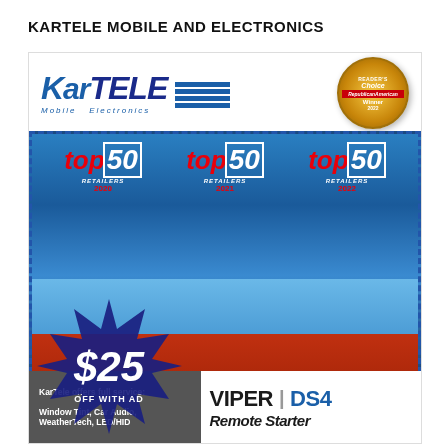KARTELE MOBILE AND ELECTRONICS
[Figure (advertisement): KarTele Mobile Electronics advertisement featuring their logo with Reader's Choice award badge, Top 50 Retailers badges for 2020, 2021, and 2022, a $25 off with ad promotional offer on a Viper DS4 Remote Starter, with a car background and phone/product image. Bottom text reads 'KarTele offers full service: Window Tint, Car Audio, WeatherTech, LED/HID' and 'VIPER DS4 Remote Starter']